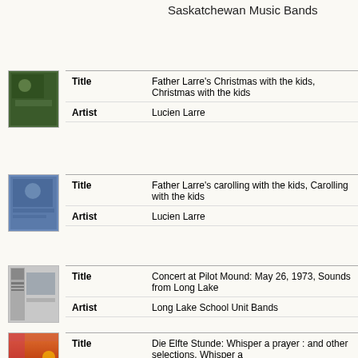Saskatchewan Music Bands
Title: Father Larre's Christmas with the kids, Christmas with the kids | Artist: Lucien Larre
Title: Father Larre's carolling with the kids, Carolling with the kids | Artist: Lucien Larre
Title: Concert at Pilot Mound: May 26, 1973, Sounds from Long Lake | Artist: Long Lake School Unit Bands
Title: Die Elfte Stunde: Whisper a prayer : and other selections, Whisper a